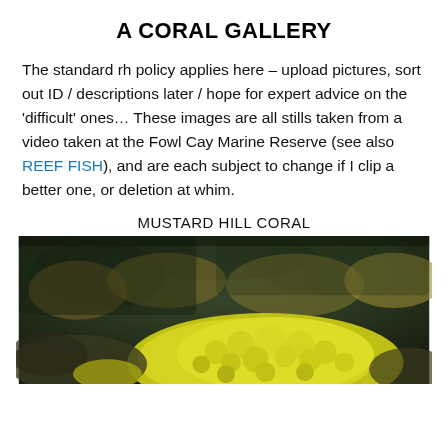A CORAL GALLERY
The standard rh policy applies here – upload pictures, sort out ID / descriptions later / hope for expert advice on the 'difficult' ones… These images are all stills taken from a video taken at the Fowl Cay Marine Reserve (see also REEF FISH), and are each subject to change if I clip a better one, or deletion at whim.
MUSTARD HILL CORAL
[Figure (photo): Underwater photo of mustard hill coral (bright yellow/green brain-like mounds) on the reef floor at Fowl Cay Marine Reserve, with brownish algae and reef structure in the background.]